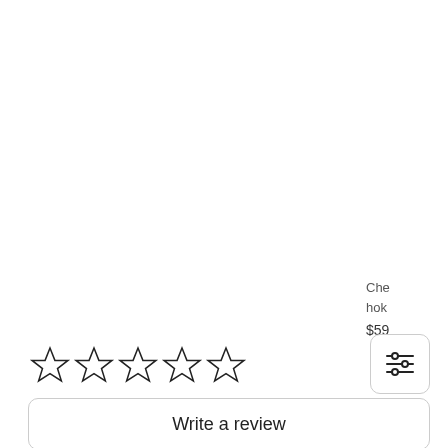Che hok $59
[Figure (other): Five empty star rating icons in a row]
[Figure (other): Filter/settings icon button with three horizontal sliders]
Write a review
Be the first to write a review